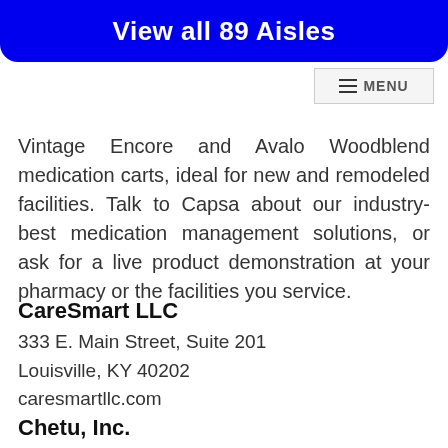[Figure (screenshot): Blue banner button reading 'View all 89 Aisles']
[Figure (screenshot): Navigation menu bar with hamburger icon and MENU label]
Vintage Encore and Avalo Woodblend medication carts, ideal for new and remodeled facilities. Talk to Capsa about our industry-best medication management solutions, or ask for a live product demonstration at your pharmacy or the facilities you service.
CareSmart LLC
333 E. Main Street, Suite 201
Louisville, KY 40202
caresmartllc.com
Chetu, Inc.
10167 W. Sunrise Boulevard